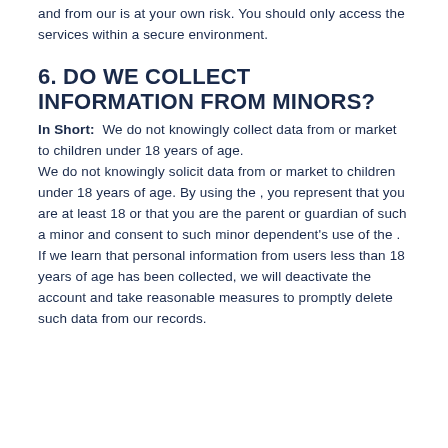and from our is at your own risk. You should only access the services within a secure environment.
6. DO WE COLLECT INFORMATION FROM MINORS?
In Short:  We do not knowingly collect data from or market to children under 18 years of age.
We do not knowingly solicit data from or market to children under 18 years of age. By using the , you represent that you are at least 18 or that you are the parent or guardian of such a minor and consent to such minor dependent's use of the . If we learn that personal information from users less than 18 years of age has been collected, we will deactivate the account and take reasonable measures to promptly delete such data from our records.